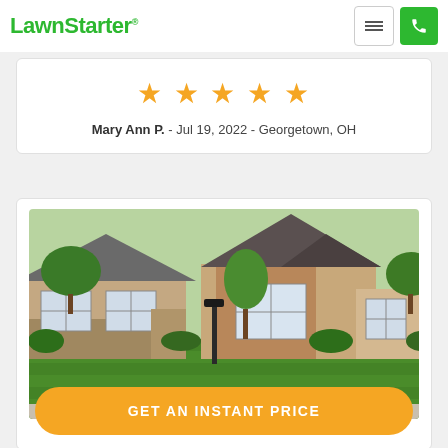LawnStarter
★★★★★
Mary Ann P. - Jul 19, 2022 - Georgetown, OH
[Figure (photo): Photo of two suburban brick homes with neatly mowed green lawns, a black lamp post, and trees in the front yard]
GET AN INSTANT PRICE